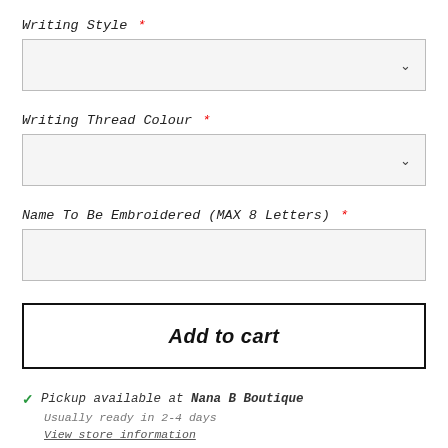Writing Style *
[Figure (other): Dropdown select box for Writing Style]
Writing Thread Colour *
[Figure (other): Dropdown select box for Writing Thread Colour]
Name To Be Embroidered (MAX 8 Letters) *
[Figure (other): Text input box for Name To Be Embroidered]
Add to cart
✓ Pickup available at Nana B Boutique
Usually ready in 2-4 days
View store information